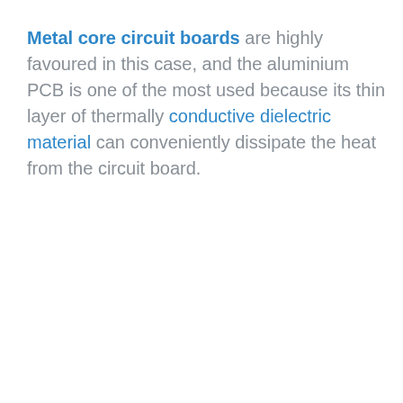Metal core circuit boards are highly favoured in this case, and the aluminium PCB is one of the most used because its thin layer of thermally conductive dielectric material can conveniently dissipate the heat from the circuit board.